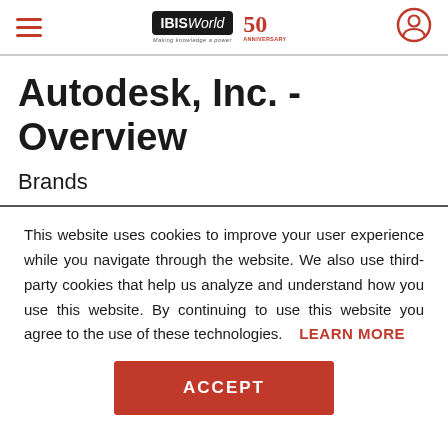IBISWorld 50th Anniversary — navigation bar with hamburger menu and user icon
Autodesk, Inc. - Overview
Brands
This website uses cookies to improve your user experience while you navigate through the website. We also use third-party cookies that help us analyze and understand how you use this website. By continuing to use this website you agree to the use of these technologies. LEARN MORE
ACCEPT